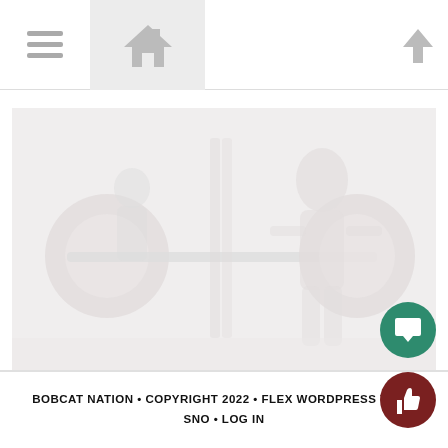[Figure (other): Navigation header bar with hamburger menu icon, home icon, and up arrow icon]
[Figure (photo): Faded/washed out photo of a person lifting weights/barbell in a gym setting]
BOBCAT NATION • COPYRIGHT 2022 • FLEX WORDPRESS THE... SNO • LOG IN